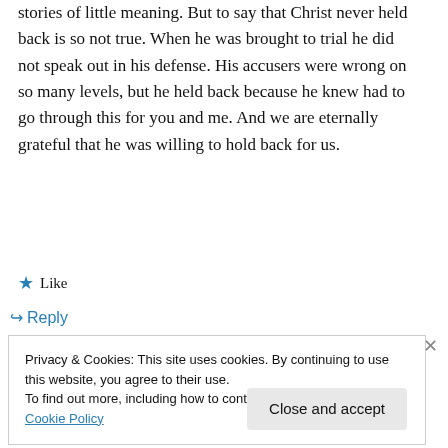stories of little meaning. But to say that Christ never held back is so not true. When he was brought to trial he did not speak out in his defense. His accusers were wrong on so many levels, but he held back because he knew had to go through this for you and me. And we are eternally grateful that he was willing to hold back for us.
★ Like
↪ Reply
Privacy & Cookies: This site uses cookies. By continuing to use this website, you agree to their use. To find out more, including how to control cookies, see here: Cookie Policy
Close and accept